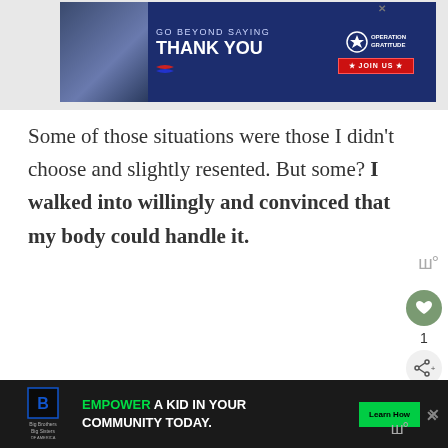[Figure (screenshot): Advertisement banner: dark navy blue background with text 'GO BEYOND SAYING THANK YOU' and Operation Gratitude logo with 'JOIN US' button in red]
Some of those situations were those I didn't choose and slightly resented. But some? I walked into willingly and convinced that my body could handle it.
I was so wrong, and though it took me many babies to...
[Figure (screenshot): Bottom advertisement banner: dark background with Big Brothers Big Sisters logo, text 'EMPOWER A KID IN YOUR COMMUNITY TODAY.' with green 'Learn How' button]